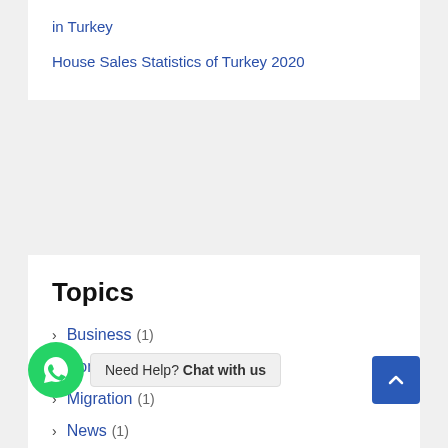in Turkey
House Sales Statistics of Turkey 2020
Topics
Business (1)
Construction (1)
Migration (1)
News (1)
Real Estate (6)
Residence Permit (1)
Services (1)